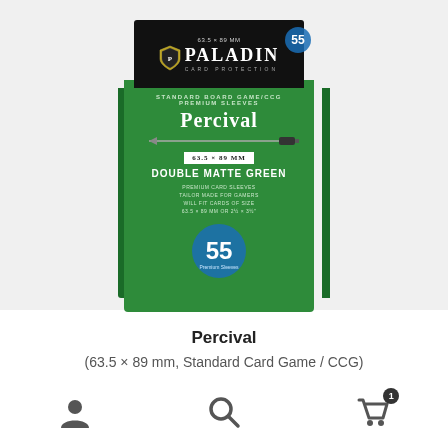[Figure (photo): Product photo of Paladin Card Protection 'Percival' Double Matte Green card sleeves box (63.5 x 89 mm, Standard Board Game/CCG, 55 Premium Sleeves). Green box with black top section showing Paladin logo with shield icon. Box shows sword graphic across Percival name.]
Percival
(63.5 × 89 mm, Standard Card Game / CCG)
Double Matte, Green
[Figure (infographic): Bottom navigation bar with user/account icon, search magnifying glass icon, and shopping cart icon with badge showing number 1]